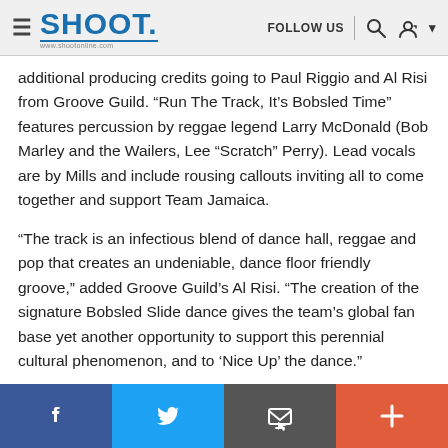SHOOT. | FOLLOW US
additional producing credits going to Paul Riggio and Al Risi from Groove Guild. “Run The Track, It’s Bobsled Time” features percussion by reggae legend Larry McDonald (Bob Marley and the Wailers, Lee “Scratch” Perry). Lead vocals are by Mills and include rousing callouts inviting all to come together and support Team Jamaica.
“The track is an infectious blend of dance hall, reggae and pop that creates an undeniable, dance floor friendly groove,” added Groove Guild’s Al Risi. “The creation of the signature Bobsled Slide dance gives the team’s global fan base yet another opportunity to support this perennial cultural phenomenon, and to ‘Nice Up’ the dance.”
Facebook | Twitter | Email | Share